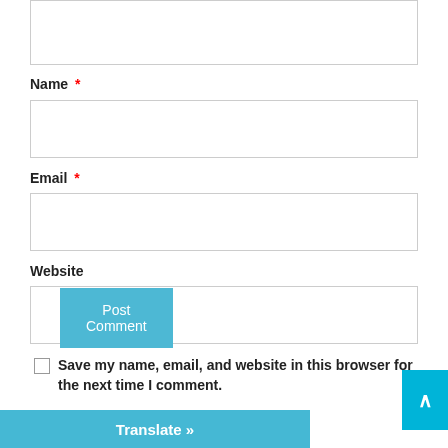Name *
Email *
Website
Save my name, email, and website in this browser for the next time I comment.
Post Comment
Translate »